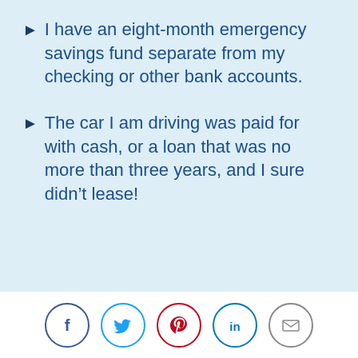I have an eight-month emergency savings fund separate from my checking or other bank accounts.
The car I am driving was paid for with cash, or a loan that was no more than three years, and I sure didn’t lease!
[Figure (infographic): Social sharing icons: Facebook (dark blue circle), Twitter (light blue circle), Pinterest (red circle), LinkedIn (teal circle), Email (gray circle)]